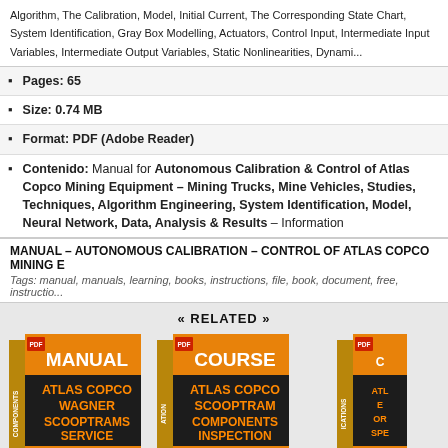Algorithm, The Calibration, Model, Initial Current, The Corresponding State Chart, System Identification, Gray Box Modelling, Actuators, Control Input, Intermediate Input Variables, Intermediate Output Variables, Static Nonlinearities, Dynamic...
Pages: 65
Size: 0.74 MB
Format: PDF (Adobe Reader)
Contenido: Manual for Autonomous Calibration & Control of Atlas Copco Mining Equipment – Mining Trucks, Mine Vehicles, Studies, Techniques, Algorithm Engineering, System Identification, Model, Neural Network, Data, Analysis & Results – Information
MANUAL – AUTONOMOUS CALIBRATION – CONTROL OF ATLAS COPCO MINING E
Tags: manual, manuals, learning, books, instructions, file, book, document, free, instructio...
« RELATED »
[Figure (illustration): Book cover: MANUAL ATLAS COPCO WAGNER SCOOPTRAMS SERVICE]
[Figure (illustration): Book cover: COURSE ATLAS COPCO SCOOPTRAM COMPONENTS INSPECTION]
[Figure (illustration): Book cover: partially visible, Atlas Copco related]